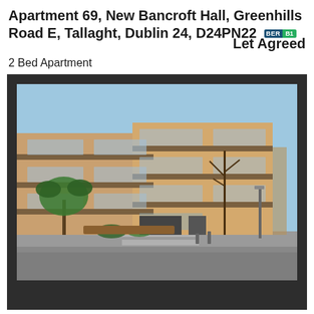Apartment 69, New Bancroft Hall, Greenhills Road E, Tallaght, Dublin 24, D24PN22 [BER B1] Let Agreed
2 Bed Apartment
[Figure (photo): Exterior photograph of a modern multi-storey apartment complex with brick facade and glass balconies. Trees visible in foreground and additional apartment buildings in background. Urban street setting.]
Let Agreed
View All (13)